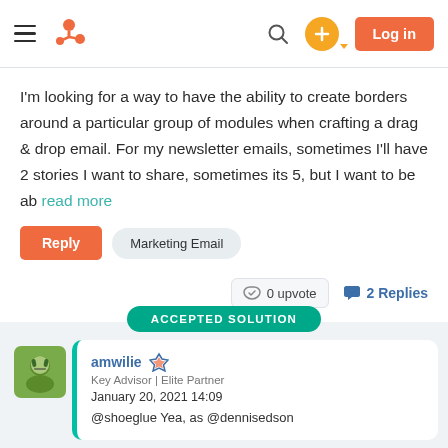HubSpot Community navigation bar with logo, search, and Log in button
I'm looking for a way to have the ability to create borders around a particular group of modules when crafting a drag & drop email. For my newsletter emails, sometimes I'll have 2 stories I want to share, sometimes its 5, but I want to be ab read more
Reply | Marketing Email
0 upvote  2 Replies
ACCEPTED SOLUTION
amwilie
Key Advisor | Elite Partner
January 20, 2021 14:09
@shoeglue Yea, as @dennisedson